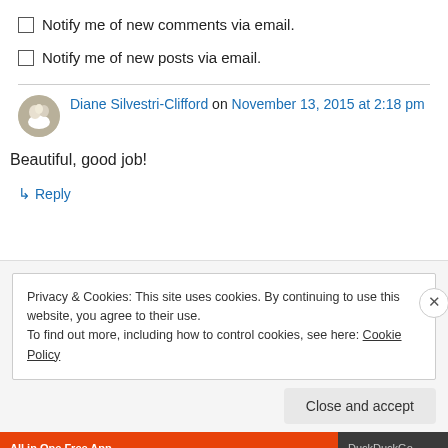Notify me of new comments via email.
Notify me of new posts via email.
Diane Silvestri-Clifford on November 13, 2015 at 2:18 pm
Beautiful, good job!
↳ Reply
Privacy & Cookies: This site uses cookies. By continuing to use this website, you agree to their use.
To find out more, including how to control cookies, see here: Cookie Policy
Close and accept